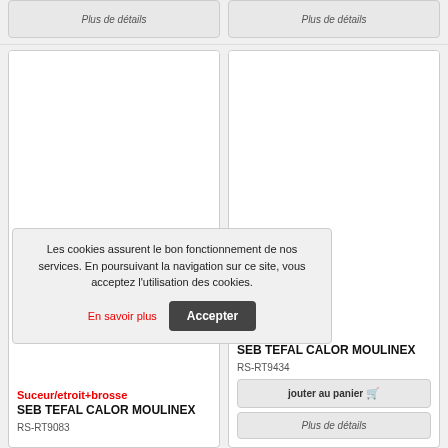[Figure (screenshot): Two partially visible product card buttons labeled 'Plus de détails' at the top of the page]
[Figure (screenshot): Product card for Suceur/etroit+brosse - SEB TEFAL CALOR MOULINEX, ref RS-RT9083]
Suceur/etroit+brosse
SEB TEFAL CALOR MOULINEX
RS-RT9083
[Figure (screenshot): Product card for Suceur/large - SEB TEFAL CALOR MOULINEX, ref RS-RT9434 with Ajouter au panier and Plus de détails buttons]
Suceur/large
SEB TEFAL CALOR MOULINEX
RS-RT9434
Les cookies assurent le bon fonctionnement de nos services. En poursuivant la navigation sur ce site, vous acceptez l'utilisation des cookies.
En savoir plus
Accepter